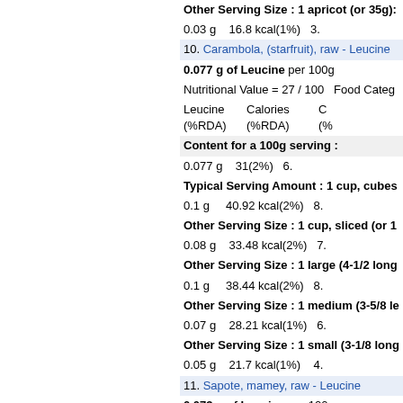Other Serving Size : 1 apricot (or 35g):
0.03 g   16.8 kcal(1%)   3.
10. Carambola, (starfruit), raw - Leucine
0.077 g of Leucine per 100g
Nutritional Value = 27 / 100   Food Categ
| Leucine (%RDA) | Calories (%RDA) | C (%) |
| --- | --- | --- |
Content for a 100g serving :
0.077 g   31(2%)   6.
Typical Serving Amount : 1 cup, cubes
0.1 g   40.92 kcal(2%)   8.
Other Serving Size : 1 cup, sliced (or 1
0.08 g   33.48 kcal(2%)   7.
Other Serving Size : 1 large (4-1/2 long
0.1 g   38.44 kcal(2%)   8.
Other Serving Size : 1 medium (3-5/8 le
0.07 g   28.21 kcal(1%)   6.
Other Serving Size : 1 small (3-1/8 long
0.05 g   21.7 kcal(1%)   4.
11. Sapote, mamey, raw - Leucine
0.073 g of Leucine per 100g
Nutritional Value = 17 / 100   Food Categ
| Leucine (%RDA) | Calories (%RDA) | C (%) |
| --- | --- | --- |
Content for a 100g serving :